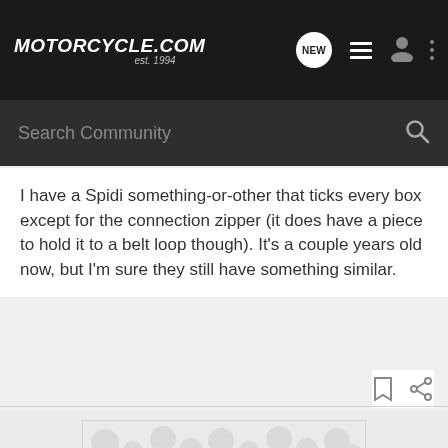Motorcycle.com est. 1994
I have a Spidi something-or-other that ticks every box except for the connection zipper (it does have a piece to hold it to a belt loop though). It's a couple years old now, but I'm sure they still have something similar.
[Figure (screenshot): Two placeholder image boxes with decorative bubble/blob pattern background, stacked vertically, partially visible at bottom of page]